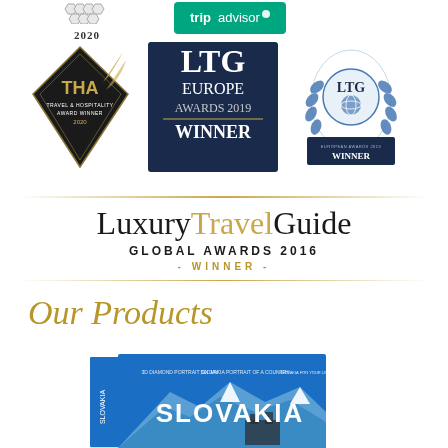[Figure (logo): Award badge 2020 with honeycomb pattern and year text]
[Figure (logo): TripAdvisor logo on green background]
[Figure (logo): THA Travel & Hospitality Award Winner 2020 diamond-shaped badge]
[Figure (logo): LTG Europe Awards 2019 Winner dark blue badge]
[Figure (logo): LTG European Awards Winner laurel wreath badge]
[Figure (logo): Luxury Travel Guide Global Awards 2016 Winner logo with gold dividers]
Our Products
[Figure (photo): Slovakia book cover with mountains and castle, blue background with SLOVAKIA text]